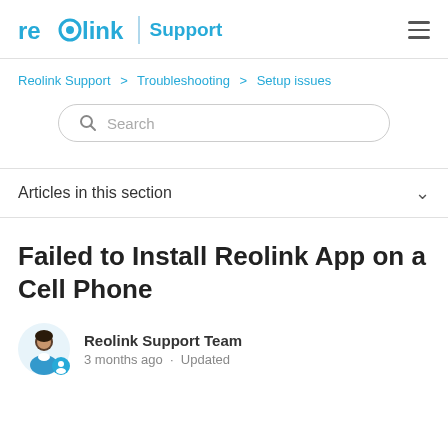reolink | Support
Reolink Support > Troubleshooting > Setup issues
[Figure (other): Search bar with magnifying glass icon and placeholder text 'Search']
Articles in this section
Failed to Install Reolink App on a Cell Phone
Reolink Support Team
3 months ago · Updated